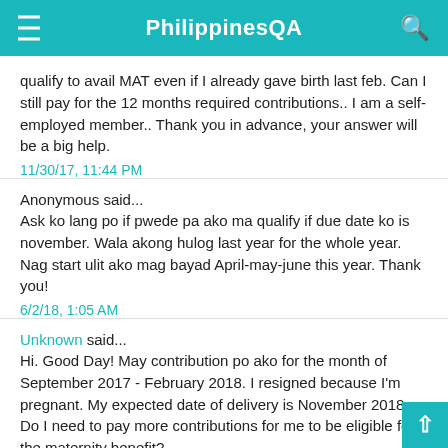PhilippinesQA
qualify to avail MAT even if I already gave birth last feb. Can I still pay for the 12 months required contributions.. I am a self-employed member.. Thank you in advance, your answer will be a big help.
11/30/17, 11:44 PM
Anonymous said...
Ask ko lang po if pwede pa ako ma qualify if due date ko is november. Wala akong hulog last year for the whole year. Nag start ulit ako mag bayad April-may-june this year. Thank you!
6/2/18, 1:05 AM
Unknown said...
Hi. Good Day! May contribution po ako for the month of September 2017 - February 2018. I resigned because I'm pregnant. My expected date of delivery is November 2018. Do I need to pay more contributions for me to be eligible for the maternity benefit?